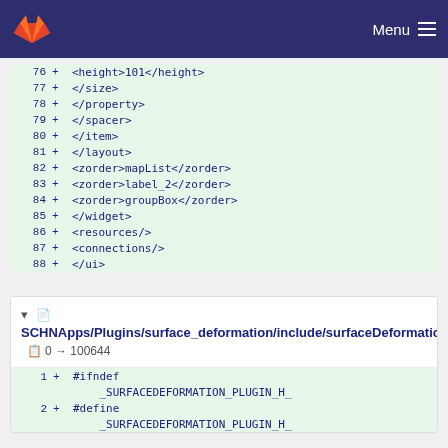GitLab navigation bar with logo and Menu
76 + <height>101</height>
77 + </size>
78 + </property>
79 + </spacer>
80 + </item>
81 + </layout>
82 + <zorder>mapList</zorder>
83 + <zorder>label_2</zorder>
84 + <zorder>groupBox</zorder>
85 + </widget>
86 + <resources/>
87 + <connections/>
88 + </ui>
SCHNApps/Plugins/surface_deformation/include/surfaceDeformation.h  0 → 100644
1 + #ifndef _SURFACEDEFORMATION_PLUGIN_H_
2 + #define
   _SURFACEDEFORMATION_PLUGIN_H_